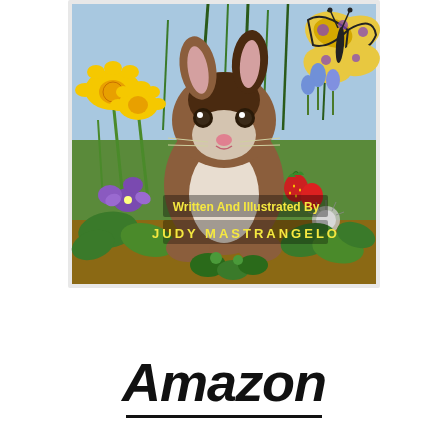[Figure (illustration): Book cover illustration showing a brown and white rabbit surrounded by spring flowers including yellow daffodils, purple violets, strawberries, green grass, and a butterfly. Text on the illustration reads 'Written And Illustrated By JUDY MASTRANGELO'.]
Amazon